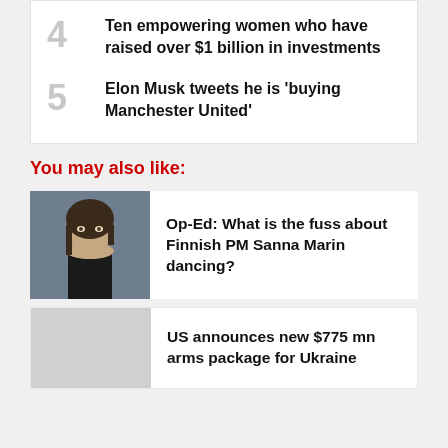4 Ten empowering women who have raised over $1 billion in investments
5 Elon Musk tweets he is 'buying Manchester United'
You may also like:
[Figure (photo): Photo of Finnish PM Sanna Marin, a woman with dark hair wearing a black turtleneck, photographed against a grey background]
Op-Ed: What is the fuss about Finnish PM Sanna Marin dancing?
US announces new $775 mn arms package for Ukraine